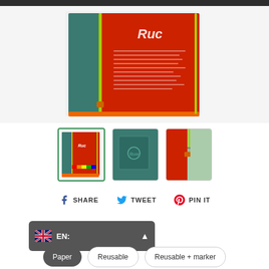[Figure (photo): Product photo of a red zipper pouch/pencil case with green zipper and rubber band, made from recycled packaging material with text printed on it.]
[Figure (photo): Three product thumbnails: first (selected with green border) shows front of red pouch with rainbow stripes, second shows back/teal side, third shows close-up of zipper corner.]
SHARE   TWEET   PIN IT
[Figure (screenshot): Language selector widget showing UK flag icon and EN label with dropdown arrow, on dark grey background.]
Paper   Reusable   Reusable + marker